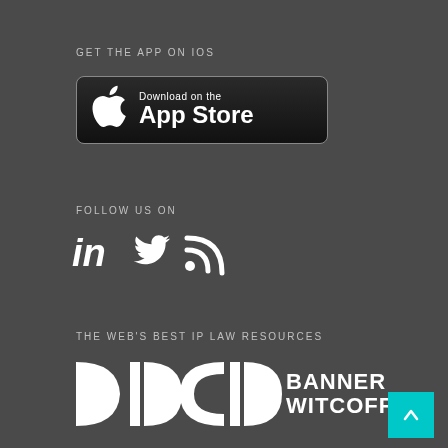GET THE APP ON IOS
[Figure (logo): Download on the App Store button with Apple logo]
FOLLOW US ON
[Figure (illustration): Social media icons: LinkedIn, Twitter, RSS feed]
THE WEB'S BEST IP LAW RESOURCES
[Figure (logo): Banner Witcoff logo with stylized B and W symbol in white]